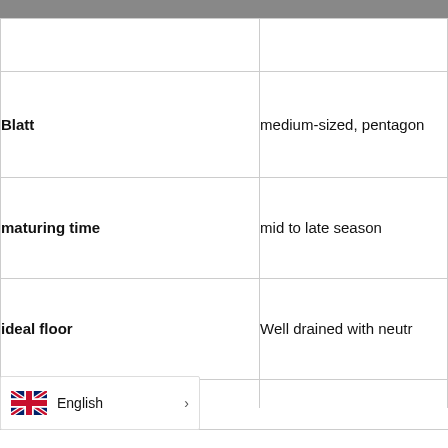| Property | Value |
| --- | --- |
|  |  |
| Blatt | medium-sized, pentagon |
| maturing time | mid to late season |
| ideal floor | Well drained with neutr |
| wine characteristics |  |
English